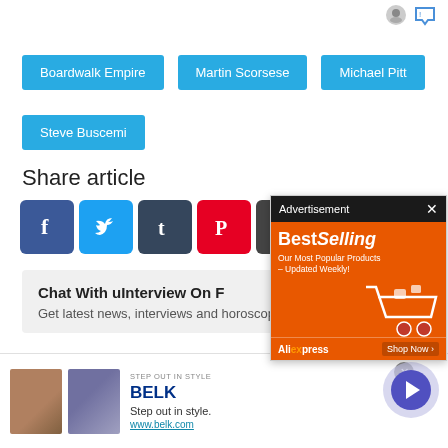Boardwalk Empire
Martin Scorsese
Michael Pitt
Steve Buscemi
Share article
[Figure (infographic): Social share icons: Facebook, Twitter, Tumblr, Pinterest, Reddit]
Chat With uInterview On F
Get latest news, interviews and horoscopes delivered
[Figure (screenshot): Advertisement overlay: BestSelling - Our Most Popular Products – Updated Weekly! AliExpress. Shop Now.]
[Figure (screenshot): Bottom advertisement banner: STEP OUT IN STYLE. BELK. Step out in style. www.belk.com]